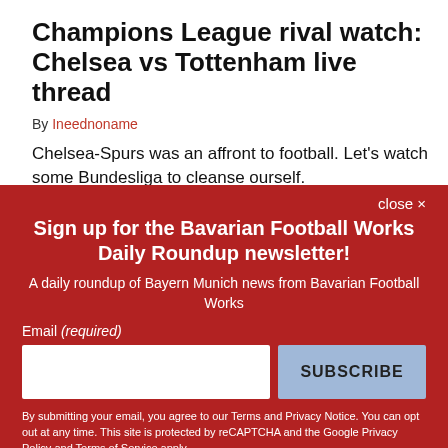Champions League rival watch: Chelsea vs Tottenham live thread
By Ineednoname
Chelsea-Spurs was an affront to football. Let's watch some Bundesliga to cleanse ourself.
close ×
Sign up for the Bavarian Football Works Daily Roundup newsletter!
A daily roundup of Bayern Munich news from Bavarian Football Works
Email (required)
SUBSCRIBE
By submitting your email, you agree to our Terms and Privacy Notice. You can opt out at any time. This site is protected by reCAPTCHA and the Google Privacy Policy and Terms of Service apply.